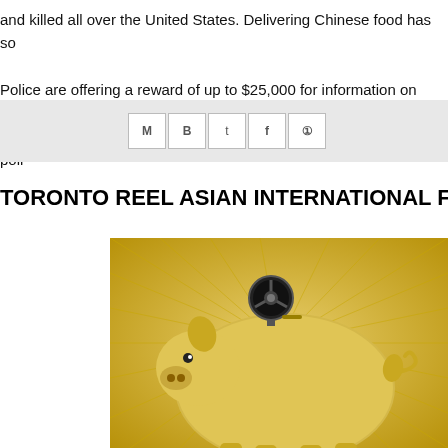and killed all over the United States. Delivering Chinese food has so
Police are offering a reward of up to $25,000 for information on Wan
conviction. Authorities are urging anyone with information to call poli
[Figure (screenshot): Social media share bar with icons for Gmail, Blogger, Twitter, Facebook, and Pinterest]
TORONTO REEL ASIAN INTERNATIONAL FILM
[Figure (photo): Golden piggy bank with a film reel on top, on a golden starburst background]